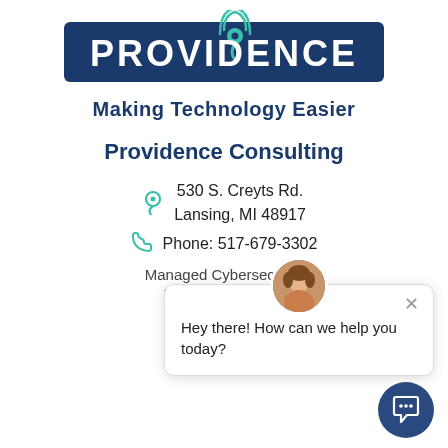[Figure (logo): Providence logo - dark blue rectangle with white text 'PROVIDENCE' and a teal wifi/location pin icon above the letter I]
Making Technology Easier
Providence Consulting
530 S. Creyts Rd.
Lansing, MI 48917
Phone: 517-679-3302
Managed Cybersecurity
Risk Management
IT Consulting
[Figure (screenshot): Chat popup widget with avatar photo of a woman, close X button, and text 'Hey there! How can we help you today?' with a dark blue circular chat button in the lower right corner]